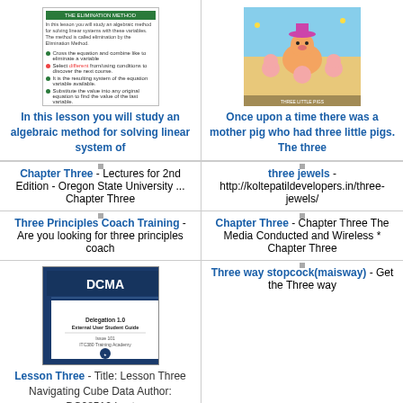[Figure (screenshot): Thumbnail of a math/algebra lesson page with green header and bullet points]
In this lesson you will study an algebraic method for solving linear system of
[Figure (illustration): Colorful children's book illustration showing three little pigs and a mother pig]
Once upon a time there was a mother pig who had three little pigs. The three
Chapter Three - Lectures for 2nd Edition - Oregon State University ... Chapter Three
three jewels - http://koltepatildevelopers.in/three-jewels/
Three Principles Coach Training - Are you looking for three principles coach
Chapter Three - Chapter Three The Media Conducted and Wireless * Chapter Three
[Figure (screenshot): DCMA Delegation 1.0 External User Student Guide cover page]
Lesson Three - Title: Lesson Three Navigating Cube Data Author: DC08512 Last
Three way stopcock(maisway) - Get the Three way
Chapter Three - Chapter Three Building Geometry Solidly Incidence Axioms I-1:
Three Mile Island - Three Mile Island Perhaps the most famous nuclear accident in